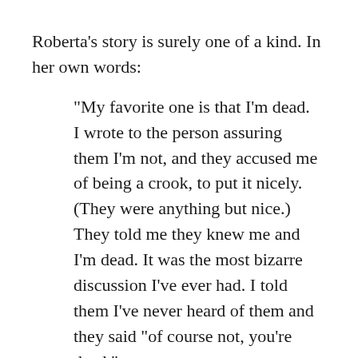Roberta's story is surely one of a kind. In her own words:
“My favorite one is that I’m dead. I wrote to the person assuring them I’m not, and they accused me of being a crook, to put it nicely. (They were anything but nice.) They told me they knew me and I’m dead. It was the most bizarre discussion I’ve ever had. I told them I’ve never heard of them and they said “of course not, you’re dead.”
I finally had to contact the company and ask them to remove my death information from that person’s tree because the fact